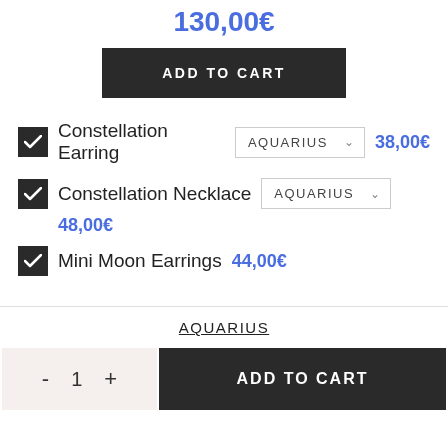130,00€
ADD TO CART
Constellation Earring – AQUARIUS – 38,00€
Constellation Necklace – AQUARIUS – 48,00€
Mini Moon Earrings – 44,00€
AQUARIUS
ADD TO CART